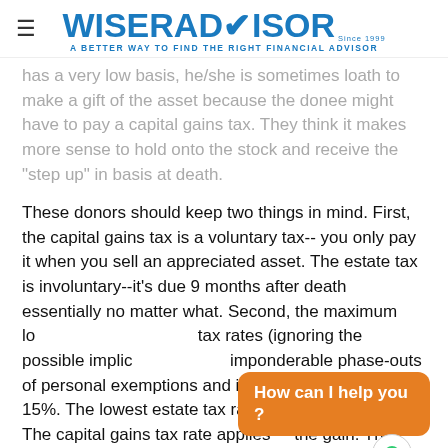WISERADVISOR — A BETTER WAY TO FIND THE RIGHT FINANCIAL ADVISOR
has a very low basis, he/she is sometimes loath to make a gift of the asset because the donee might have to pay a capital gains tax. They think it makes more sense to hold onto the stock and receive the "step up" in basis at death.
These donors should keep two things in mind. First, the capital gains tax is a voluntary tax-- you only pay it when you sell an appreciated asset. The estate tax is involuntary--it's due 9 months after death essentially no matter what. Second, the maximum long-term capital gains tax rates (ignoring the possible implications of the imponderable phase-outs of personal exemptions and itemized deductions) is 15%. The lowest estate tax rate is effectively 35%. The capital gains tax rate applies to the gain. The estate tax rate applies to the entire asset.
Should everyone be making annual gifts? No, for some there are compelling reasons not to. Potential donors who